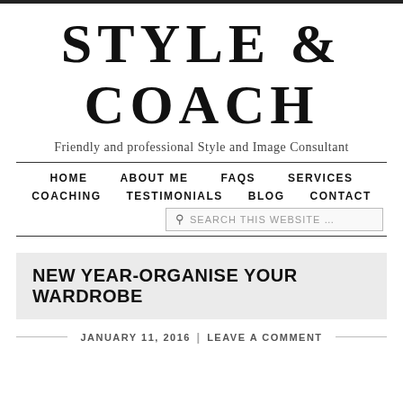STYLE & COACH
Friendly and professional Style and Image Consultant
HOME   ABOUT ME   FAQS   SERVICES   COACHING   TESTIMONIALS   BLOG   CONTACT
SEARCH THIS WEBSITE …
NEW YEAR-ORGANISE YOUR WARDROBE
JANUARY 11, 2016   |   LEAVE A COMMENT